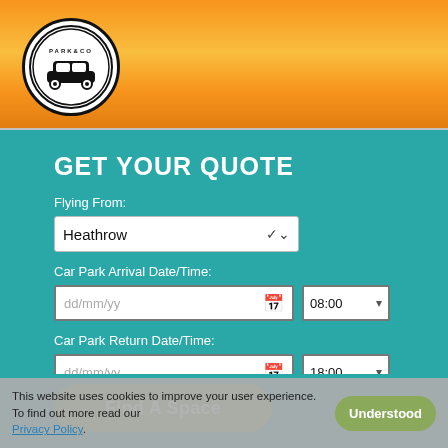[Figure (logo): Park & Co logo — circular black and white badge with a car illustration and 'PARK & CO' text around the border]
GET YOUR QUOTE
Flying From:
Heathrow
Car Park Arrival Date/Time:
dd/mm/yy   08:00
Car Park Return Date/Time:
dd/mm/yy   18:00
Find A Space
This website uses cookies to improve your user experience. To find out more read our Privacy Policy.
Understood